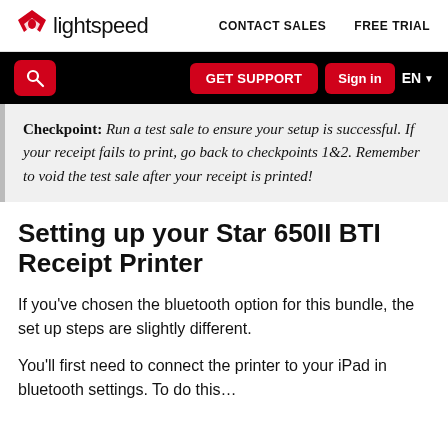lightspeed   CONTACT SALES   FREE TRIAL
[Figure (screenshot): Black navigation bar with red search button, GET SUPPORT button, Sign in button, and EN language selector]
Checkpoint: Run a test sale to ensure your setup is successful. If your receipt fails to print, go back to checkpoints 1&2. Remember to void the test sale after your receipt is printed!
Setting up your Star 650II BTI Receipt Printer
If you've chosen the bluetooth option for this bundle, the set up steps are slightly different.
You'll first need to connect the printer to your iPad in bluetooth settings. To do this…